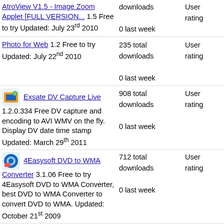AtroView V1.5 - Image Zoom Applet [FULL VERSION... 1.5 Free to try Updated: July 23rd 2010 | downloads | User rating | 0 last week
Photo for Web 1.2 Free to try Updated: July 22nd 2010 | 235 total downloads | User rating | 0 last week
Exsate DV Capture Live 1.2.0.334 Free DV capture and encoding to AVI WMV on the fly. Display DV date time stamp Updated: March 29th 2011 | 908 total downloads | User rating | 0 last week
4Easysoft DVD to WMA Converter 3.1.06 Free to try 4Easysoft DVD to WMA Converter, best DVD to WMA Converter to convert DVD to WMA. Updated: October 21st 2009 | 712 total downloads | User rating | 0 last week
Pixcavator IA - Image Analysis 5.1 Free to try Measure and count: semi-automatically | 531 total downloads | User